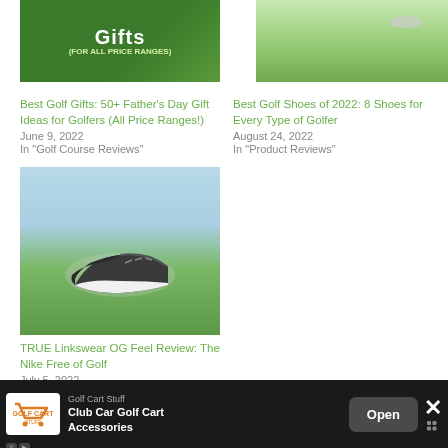[Figure (photo): Golf gifts thumbnail with green background and text 'Gifts (For All Price Ranges)']
Best Golf Gifts: 50+ Father's Day Gift Ideas for Golfers (All Price Ranges!)
June 9, 2022
In "Golf Course Reviews"
[Figure (photo): Golf shoe on green grass field]
Best Golf Shoes of 2022: 8 Shoes for Every Type of Golfer
August 24, 2022
In "Product Reviews"
[Figure (photo): TRUE Linkswear OG Feel shoe on grass, outdoor blue sky background]
TRUE Linkswear OG Feel Review: The Nike Free of Golf
July 5, 2022
In "Product Reviews"
[Figure (screenshot): Advertisement banner: Golf Cart Stuff - Club Car Golf Cart Accessories with Open button and close X]